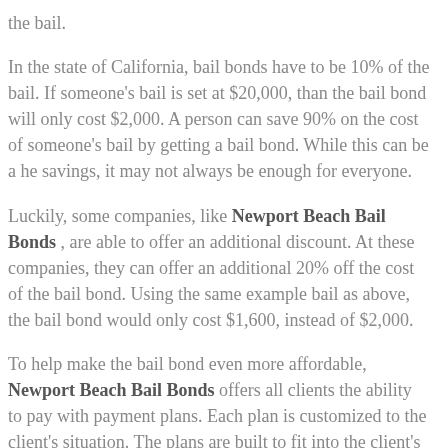the bail.
In the state of California, bail bonds have to be 10% of the bail. If someone's bail is set at $20,000, than the bail bond will only cost $2,000. A person can save 90% on the cost of someone's bail by getting a bail bond. While this can be a he savings, it may not always be enough for everyone.
Luckily, some companies, like Newport Beach Bail Bonds , are able to offer an additional discount. At these companies, they can offer an additional 20% off the cost of the bail bond. Using the same example bail as above, the bail bond would only cost $1,600, instead of $2,000.
To help make the bail bond even more affordable, Newport Beach Bail Bonds offers all clients the ability to pay with payment plans. Each plan is customized to the client's situation. The plans are built to fit into the client's monthly budget. This greatly reduces the upfront cost of